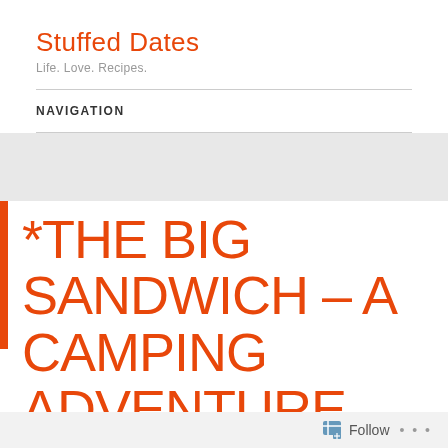Stuffed Dates
Life. Love. Recipes.
NAVIGATION
*THE BIG SANDWICH – A CAMPING ADVENTURE